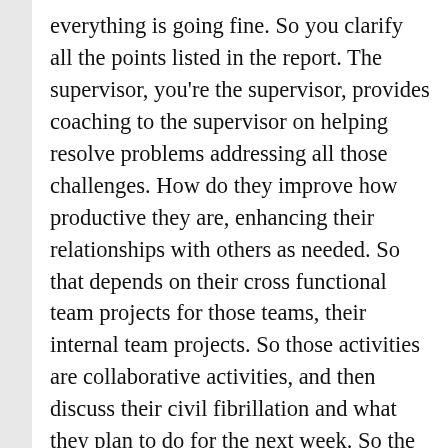everything is going fine. So you clarify all the points listed in the report. The supervisor, you're the supervisor, provides coaching to the supervisor on helping resolve problems addressing all those challenges. How do they improve how productive they are, enhancing their relationships with others as needed. So that depends on their cross functional team projects for those teams, their internal team projects. So those activities are collaborative activities, and then discuss their civil fibrillation and what they plan to do for the next week. So the supervisor accepts or devises the self evaluation given by the employee and the plans for the week explains the